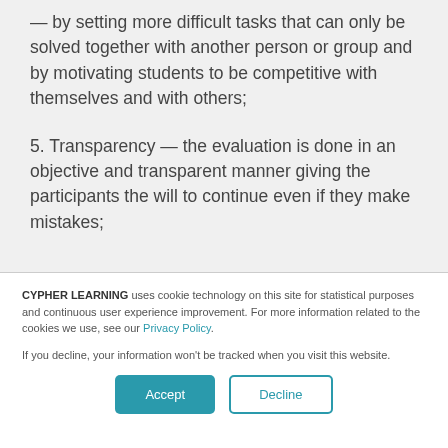— by setting more difficult tasks that can only be solved together with another person or group and by motivating students to be competitive with themselves and with others;
5. Transparency — the evaluation is done in an objective and transparent manner giving the participants the will to continue even if they make mistakes;
CYPHER LEARNING uses cookie technology on this site for statistical purposes and continuous user experience improvement. For more information related to the cookies we use, see our Privacy Policy.
If you decline, your information won't be tracked when you visit this website.